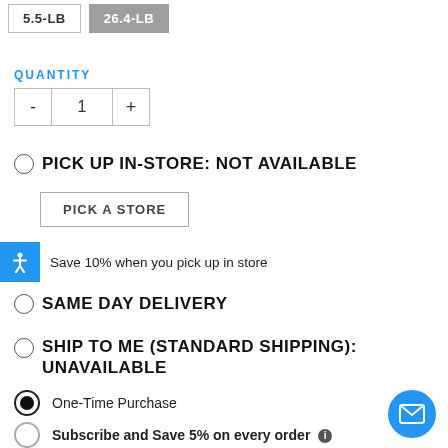5.5-LB
26.4-LB
QUANTITY
- 1 +
PICK UP IN-STORE: NOT AVAILABLE
PICK A STORE
Save 10% when you pick up in store
SAME DAY DELIVERY
SHIP TO ME (STANDARD SHIPPING): UNAVAILABLE
One-Time Purchase
Subscribe and Save 5% on every order